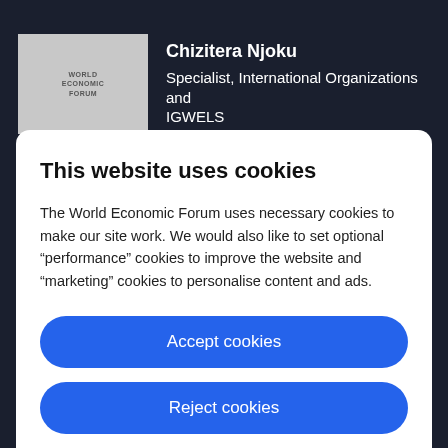Chizitera Njoku
Specialist, International Organizations and IGWELS
This website uses cookies
The World Economic Forum uses necessary cookies to make our site work. We would also like to set optional “performance” cookies to improve the website and “marketing” cookies to personalise content and ads.
Accept cookies
Reject cookies
Cookie settings